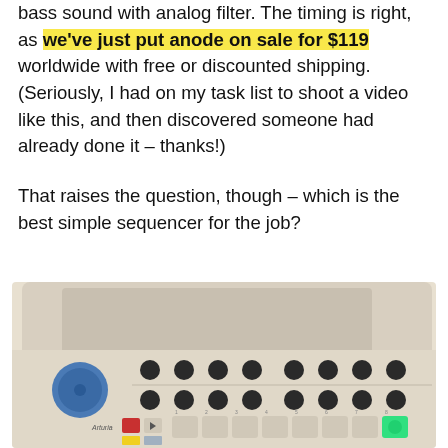bass sound with analog filter. The timing is right, as we've just put anode on sale for $119 worldwide with free or discounted shipping. (Seriously, I had on my task list to shoot a video like this, and then discovered someone had already done it – thanks!)
That raises the question, though – which is the best simple sequencer for the job?
[Figure (photo): Photo of an Arturia step sequencer/drum machine with rows of dark knobs, a large blue encoder knob on the left, multiple square pad buttons at the bottom including some lit in yellow/orange and one lit in green, and a beige/white device behind it.]